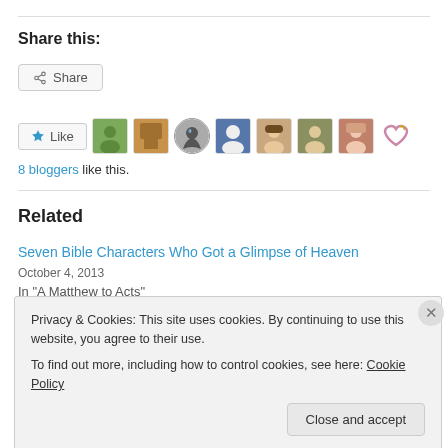Share this:
[Figure (screenshot): Share button with share icon]
[Figure (screenshot): Like button with star icon and 8 blogger avatars]
8 bloggers like this.
Related
Seven Bible Characters Who Got a Glimpse of Heaven
October 4, 2013
Privacy & Cookies: This site uses cookies. By continuing to use this website, you agree to their use. To find out more, including how to control cookies, see here: Cookie Policy
Close and accept